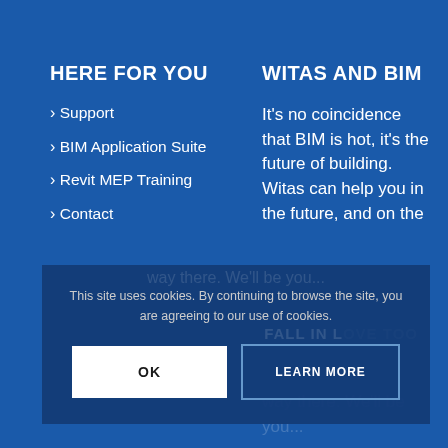HERE FOR YOU
Support
BIM Application Suite
Revit MEP Training
Contact
WITAS AND BIM
It’s no coincidence that BIM is hot, it’s the future of building. Witas can help you in the future, and on the way there. We’ll be you... FALL IN LOVE TOO
This site uses cookies. By continuing to browse the site, you are agreeing to our use of cookies.
OK
LEARN MORE